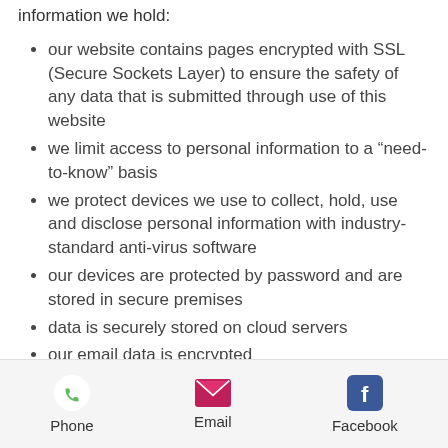information we hold:
our website contains pages encrypted with SSL (Secure Sockets Layer) to ensure the safety of any data that is submitted through use of this website
we limit access to personal information to a “need-to-know” basis
we protect devices we use to collect, hold, use and disclose personal information with industry-standard anti-virus software
our devices are protected by password and are stored in secure premises
data is securely stored on cloud servers
our email data is encrypted
all hard copies of personal information are kept in secure storage with access by authorised personnel only
all conversations involving the discussion of personal information
Phone  Email  Facebook